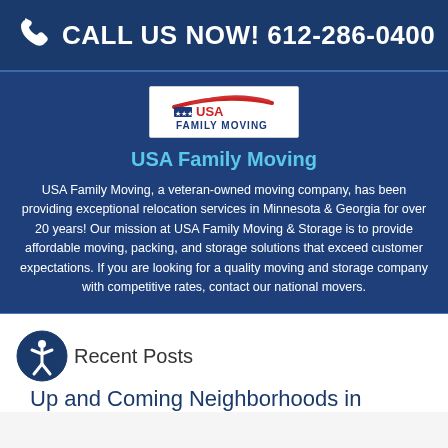CALL US NOW! 612-286-0400
[Figure (logo): USA Family Moving logo — white background with red swoosh arc and blue 'USA FAMILY MOVING' text]
USA Family Moving
USA Family Moving, a veteran-owned moving company, has been providing exceptional relocation services in Minnesota & Georgia for over 20 years! Our mission at USA Family Moving & Storage is to provide affordable moving, packing, and storage solutions that exceed customer expectations. If you are looking for a quality moving and storage company with competitive rates, contact our national movers.
Recent Posts
Up and Coming Neighborhoods in